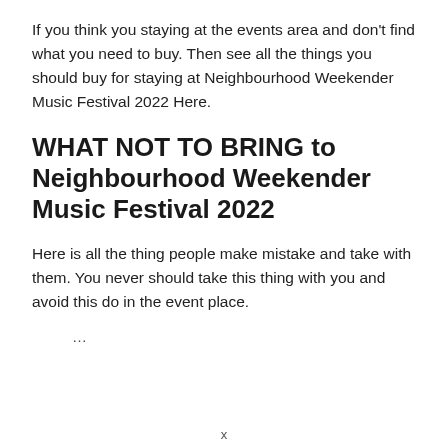If you think you staying at the events area and don't find what you need to buy. Then see all the things you should buy for staying at Neighbourhood Weekender Music Festival 2022 Here.
WHAT NOT TO BRING to Neighbourhood Weekender Music Festival 2022
Here is all the thing people make mistake and take with them. You never should take this thing with you and avoid this do in the event place.
...
x